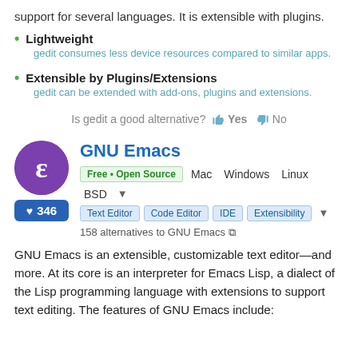support for several languages. It is extensible with plugins.
Lightweight
gedit consumes less device resources compared to similar apps.
Extensible by Plugins/Extensions
gedit can be extended with add-ons, plugins and extensions.
Is gedit a good alternative? Yes No
[Figure (logo): GNU Emacs purple logo with snake/spiral icon]
GNU Emacs
Free • Open Source  Mac  Windows  Linux  BSD
Text Editor  Code Editor  IDE  Extensibility
♥ 346
158 alternatives to GNU Emacs
GNU Emacs is an extensible, customizable text editor—and more. At its core is an interpreter for Emacs Lisp, a dialect of the Lisp programming language with extensions to support text editing. The features of GNU Emacs include: